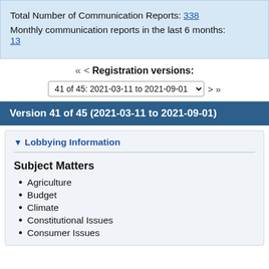Total Number of Communication Reports: 338
Monthly communication reports in the last 6 months: 13
« < Registration versions:
41 of 45: 2021-03-11 to 2021-09-01  > »
Version 41 of 45 (2021-03-11 to 2021-09-01)
▼ Lobbying Information
Subject Matters
Agriculture
Budget
Climate
Constitutional Issues
Consumer Issues